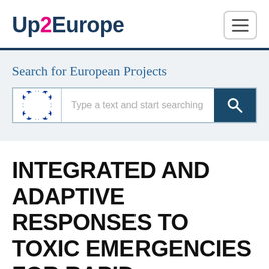Up2Europe
Search for European Projects
[Figure (screenshot): Search bar with EU stars icon and search button]
INTEGRATED AND ADAPTIVE RESPONSES TO TOXIC EMERGENCIES FOR RAPID